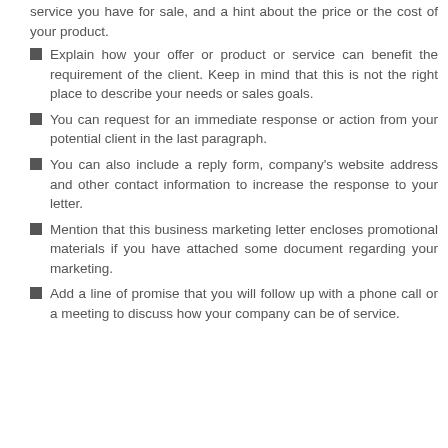service you have for sale, and a hint about the price or the cost of your product.
Explain how your offer or product or service can benefit the requirement of the client. Keep in mind that this is not the right place to describe your needs or sales goals.
You can request for an immediate response or action from your potential client in the last paragraph.
You can also include a reply form, company's website address and other contact information to increase the response to your letter.
Mention that this business marketing letter encloses promotional materials if you have attached some document regarding your marketing.
Add a line of promise that you will follow up with a phone call or a meeting to discuss how your company can be of service.